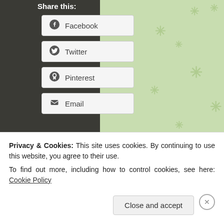Share this:
Facebook
Twitter
Pinterest
Email
Loading...
A Single Parent's Life @ 12:07 am [filed under Uncategorized tagged bc, birth control, children, family, kids
Privacy & Cookies: This site uses cookies. By continuing to use this website, you agree to their use.
To find out more, including how to control cookies, see here: Cookie Policy
Close and accept